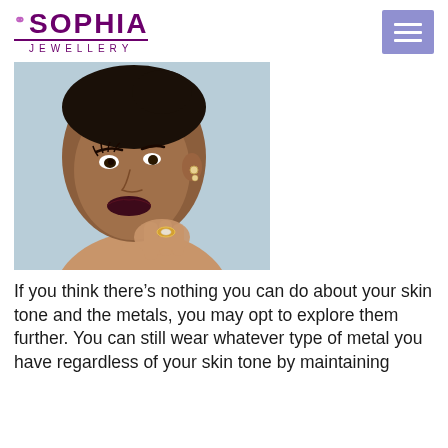[Figure (logo): Sophia Jewellery logo with stylized text and ring icon, purple color, with 'JEWELLERY' subtitle]
[Figure (photo): Portrait of a young woman with dark hair up, wearing diamond earrings and a decorative ring, touching her face/neck, against a light blue-grey background. Dark plum lipstick.]
If you think there’s nothing you can do about your skin tone and the metals, you may opt to explore them further. You can still wear whatever type of metal you have regardless of your skin tone by maintaining